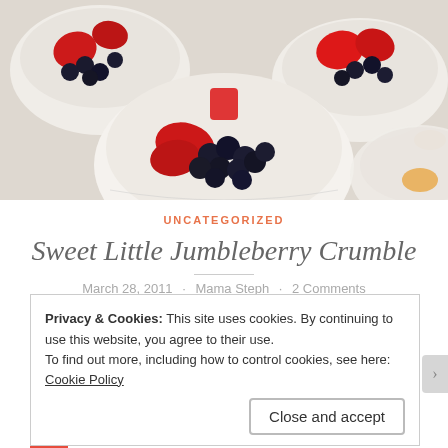[Figure (photo): Photo of multiple white bowls filled with mixed berries including strawberries and blueberries, arranged on a light surface]
UNCATEGORIZED
Sweet Little Jumbleberry Crumble
March 28, 2011 · Mama Steph · 2 Comments
Privacy & Cookies: This site uses cookies. By continuing to use this website, you agree to their use.
To find out more, including how to control cookies, see here: Cookie Policy
Close and accept